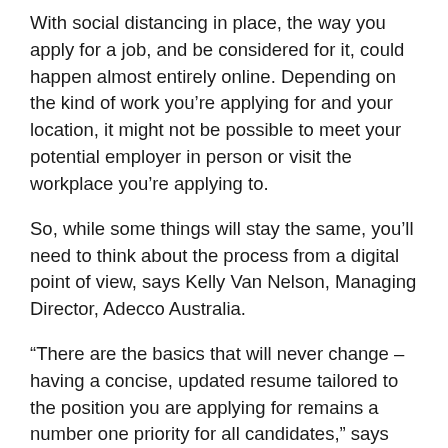With social distancing in place, the way you apply for a job, and be considered for it, could happen almost entirely online. Depending on the kind of work you're applying for and your location, it might not be possible to meet your potential employer in person or visit the workplace you're applying to.
So, while some things will stay the same, you'll need to think about the process from a digital point of view, says Kelly Van Nelson, Managing Director, Adecco Australia.
“There are the basics that will never change – having a concise, updated resume tailored to the position you are applying for remains a number one priority for all candidates,” says Van Nelson.
“However, in the online environment, it’s really important to ensure the keywords from job ads are placed in your documentation, and that you embrace requests for online